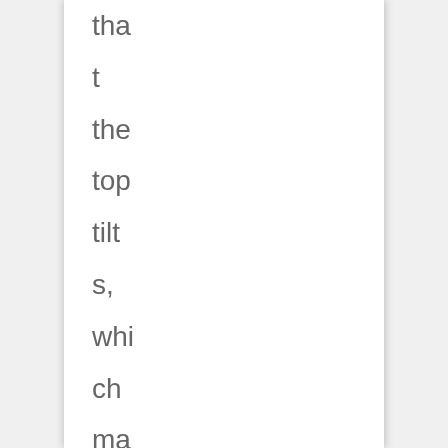that the top tilts, which makes it great for drawing. The 60" x